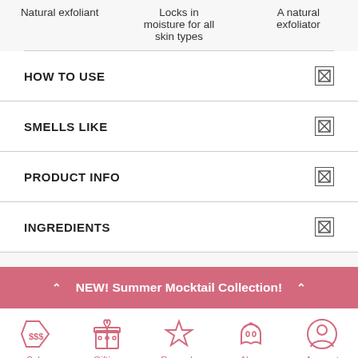Natural exfoliant | Locks in moisture for all skin types | A natural exfoliator
HOW TO USE
SMELLS LIKE
PRODUCT INFO
INGREDIENTS
NEW! Summer Mocktail Collection!
Sale | Gifting | Rewards | New | Account